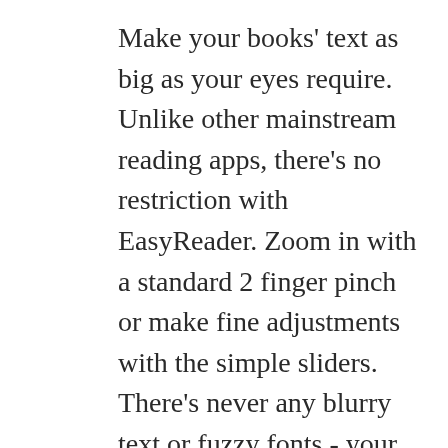Make your books' text as big as your eyes require. Unlike other mainstream reading apps, there's no restriction with EasyReader. Zoom in with a standard 2 finger pinch or make fine adjustments with the simple sliders. There's never any blurry text or fuzzy fonts - your books' words are always crystal clear and always easy on the eye.
Navigate your books or newspapers by skipping directly to specific pages or